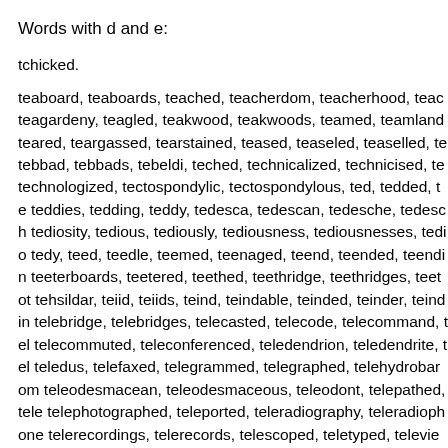Words with d and e:
tchicked.
teaboard, teaboards, teached, teacherdom, teacherhood, teac teagardeny, teagled, teakwood, teakwoods, teamed, teamland teared, teargassed, tearstained, teased, teaseled, teaselled, te tebbad, tebbads, tebeldi, teched, technicalized, technicised, te technologized, tectospondylic, tectospondylous, ted, tedded, te teddies, tedding, teddy, tedesca, tedescan, tedesche, tedesch tediosity, tedious, tediously, tediousness, tediousnesses, tedio tedy, teed, teedle, teemed, teenaged, teend, teended, teendin teeterboards, teetered, teethed, teethridge, teethridges, teetot tehsildar, teiid, teiids, teind, teindable, teinded, teinder, teindin telebridge, telebridges, telecasted, telecode, telecommand, tel telecommuted, teleconferenced, teledendrion, teledendrite, tel teledus, telefaxed, telegrammed, telegraphed, telehydrobarom teleodesmacean, teleodesmaceous, teleodont, telepathed, tele telephotographed, teleported, teleradiography, teleradiophone telerecordings, telerecords, telescoped, teletyped, televiewed, telfordize, telfordized, telfordizing, telfords, tellared, tellered, te telluride, tellurides, tellurised, tellurized, telneted, telnetted, tel telodynamic, telphered, temadau, temed, temnospondylous, te tempered, temperedly, temperedness, tempested, templardorr temporised, temporized, temporohyoid, temporomandibular, te